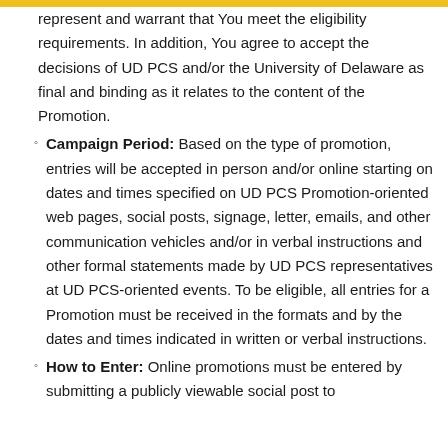represent and warrant that You meet the eligibility requirements. In addition, You agree to accept the decisions of UD PCS and/or the University of Delaware as final and binding as it relates to the content of the Promotion.
Campaign Period: Based on the type of promotion, entries will be accepted in person and/or online starting on dates and times specified on UD PCS Promotion-oriented web pages, social posts, signage, letter, emails, and other communication vehicles and/or in verbal instructions and other formal statements made by UD PCS representatives at UD PCS-oriented events. To be eligible, all entries for a Promotion must be received in the formats and by the dates and times indicated in written or verbal instructions.
How to Enter: Online promotions must be entered by submitting a publicly viewable social post to